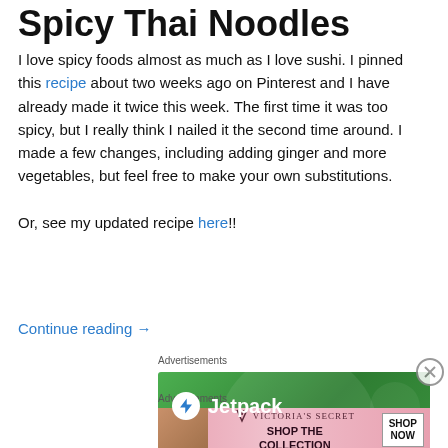Spicy Thai Noodles
I love spicy foods almost as much as I love sushi. I pinned this recipe about two weeks ago on Pinterest and I have already made it twice this week. The first time it was too spicy, but I really think I nailed it the second time around. I made a few changes, including adding ginger and more vegetables, but feel free to make your own substitutions.

Or, see my updated recipe here!!
Continue reading →
Advertisements
[Figure (other): Jetpack advertisement banner with green gradient background and Jetpack logo with lightning bolt icon]
Advertisements
[Figure (other): Victoria's Secret advertisement banner with pink gradient background, model photo, VS logo, 'SHOP THE COLLECTION' text, and 'SHOP NOW' button]